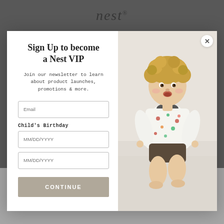nest
Sign Up to become a Nest VIP
Join our newsletter to learn about product launches, promotions & more.
Email
Child's Birthday
MM/DD/YYYY
MM/DD/YYYY
CONTINUE
[Figure (photo): Young toddler with curly hair sitting, wearing a white long-sleeve top with colorful animal/dinosaur print and dark shorts, photographed against a white background]
blanket, made with your child's ultimate comfort in mind. And, when your little one outgrows their hooded baby blanket, the hood can be removed to turn the animal hooded blanket into a baby security blanket to sleep with.